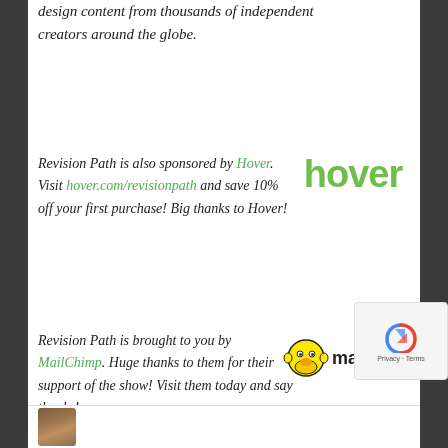design content from thousands of independent creators around the globe.
Revision Path is also sponsored by Hover. Visit hover.com/revisionpath and save 10% off your first purchase! Big thanks to Hover!
[Figure (logo): Hover logo in green text]
Revision Path is brought to you by MailChimp. Huge thanks to them for their support of the show! Visit them today and say thanks!
[Figure (logo): MailChimp logo with monkey icon and wordmark]
[Figure (other): reCAPTCHA badge with Privacy and Terms links]
[Figure (photo): Small avatar photo at bottom left]